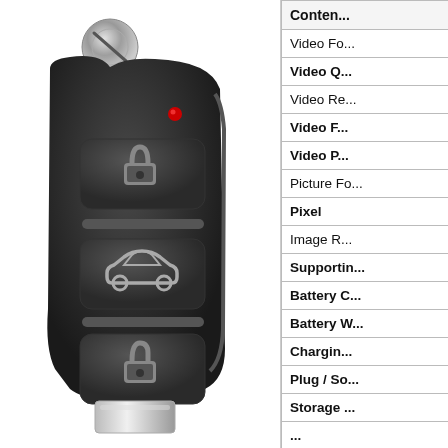[Figure (photo): A black car key fob with flip-out blade. The key has three buttons: a lock button (padlock closed icon), a car/trunk button (car icon), and an unlock button (padlock open icon). There are two horizontal bar separators between buttons. A small red LED indicator dot is visible on the upper right area of the fob body. A circular metallic keyring attachment is at the top. The key has a silver metallic flip blade at the bottom.]
| Contents |
| --- |
| Video Fo... |
| Video Q... |
| Video Re... |
| Video F... |
| Video P... |
| Picture Fo... |
| Pixel |
| Image R... |
| Supportin... |
| Battery C... |
| Battery W... |
| Chargin... |
| Plug / So... |
| Storage ... |
| ... |